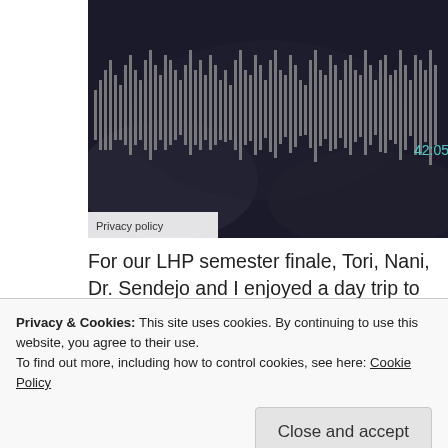[Figure (other): Audio waveform player showing sound bars on dark background with timestamp 42:05 and Privacy policy label]
For our LHP semester finale, Tori, Nani, Dr. Sendejo and I enjoyed a day trip to UT-Austin's Benson Latin American Collection.  Dr. Sendejo arranged a fantastic introductory session with Benson archivist Christian Kelleher.  Christian provided some useful tips and strategies for approaching archival
Privacy & Cookies: This site uses cookies. By continuing to use this website, you agree to their use.
To find out more, including how to control cookies, see here: Cookie Policy
Close and accept